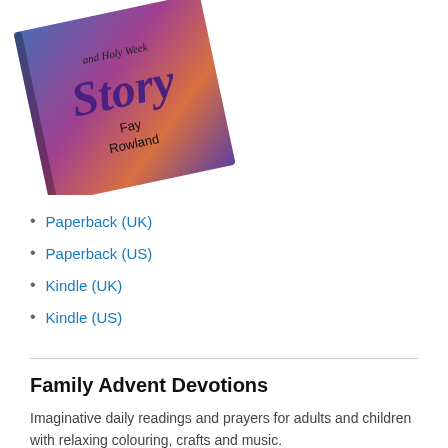[Figure (photo): Book cover of a religious devotional book, tilted at an angle. Shows colorful blue, pink and purple background with the word 'Story' prominently displayed, text 'and Holy Week' visible at top, and author name 'Fay Rowland' below.]
Paperback (UK)
Paperback (US)
Kindle (UK)
Kindle (US)
Family Advent Devotions
Imaginative daily readings and prayers for adults and children with relaxing colouring, crafts and music.
Large format from Amazon (#1 best-seller!) Barnes & Noble etc, and